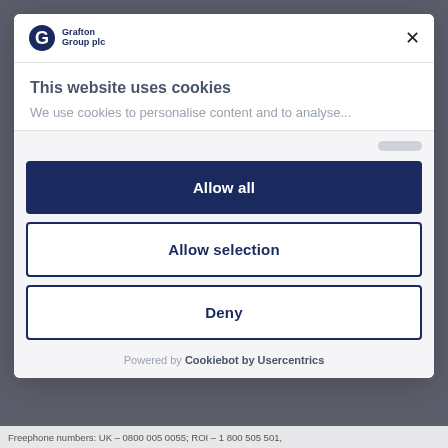[Figure (logo): Grafton Group plc logo with blue G icon and company name]
This website uses cookies
We use cookies to personalise content and to analyse...
Allow all
Allow selection
Deny
Powered by Cookiebot by Usercentrics
Freephone numbers: UK – 0800 005 0055; ROI – 1 800 505 501,